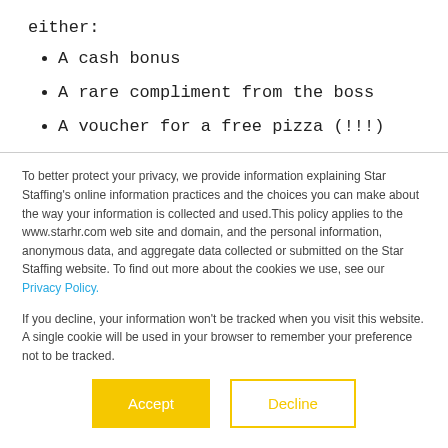either:
A cash bonus
A rare compliment from the boss
A voucher for a free pizza (!!!)
To better protect your privacy, we provide information explaining Star Staffing's online information practices and the choices you can make about the way your information is collected and used.This policy applies to the www.starhr.com web site and domain, and the personal information, anonymous data, and aggregate data collected or submitted on the Star Staffing website. To find out more about the cookies we use, see our Privacy Policy.
If you decline, your information won't be tracked when you visit this website. A single cookie will be used in your browser to remember your preference not to be tracked.
Accept
Decline